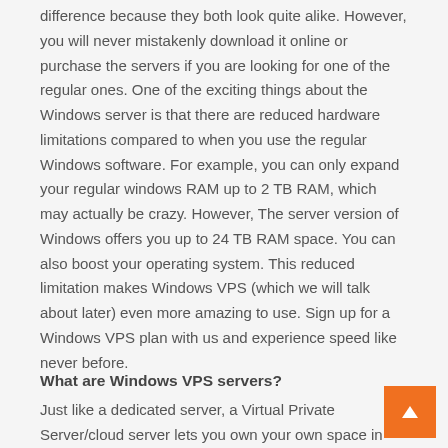difference because they both look quite alike. However, you will never mistakenly download it online or purchase the servers if you are looking for one of the regular ones. One of the exciting things about the Windows server is that there are reduced hardware limitations compared to when you use the regular Windows software. For example, you can only expand your regular windows RAM up to 2 TB RAM, which may actually be crazy. However, The server version of Windows offers you up to 24 TB RAM space. You can also boost your operating system. This reduced limitation makes Windows VPS (which we will talk about later) even more amazing to use. Sign up for a Windows VPS plan with us and experience speed like never before.
What are Windows VPS servers?
Just like a dedicated server, a Virtual Private Server/cloud server lets you own your own space in